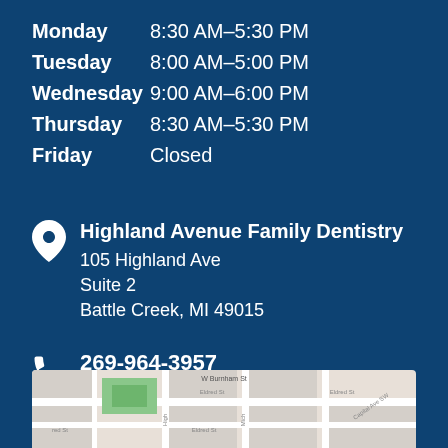Monday   8:30 AM–5:30 PM
Tuesday   8:00 AM–5:00 PM
Wednesday   9:00 AM–6:00 PM
Thursday   8:30 AM–5:30 PM
Friday   Closed
Highland Avenue Family Dentistry
105 Highland Ave
Suite 2
Battle Creek, MI 49015
269-964-3957
Tru Dental Michigan P.C.
[Figure (map): Street map showing location near Highland Ave and Eldred St in Battle Creek, MI]